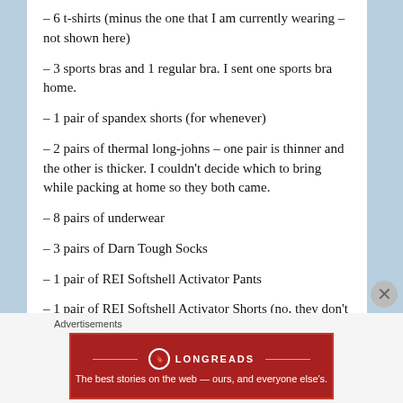- 6 t-shirts (minus the one that I am currently wearing – not shown here)
- 3 sports bras and 1 regular bra. I sent one sports bra home.
- 1 pair of spandex shorts (for whenever)
- 2 pairs of thermal long-johns – one pair is thinner and the other is thicker. I couldn't decide which to bring while packing at home so they both came.
- 8 pairs of underwear
- 3 pairs of Darn Tough Socks
- 1 pair of REI Softshell Activator Pants
- 1 pair of REI Softshell Activator Shorts (no, they don't make them; I did). One of the buttons broke on my original pair and I
Advertisements
[Figure (other): Longreads advertisement banner: red background, circle logo, text 'The best stories on the web — ours, and everyone else's.']